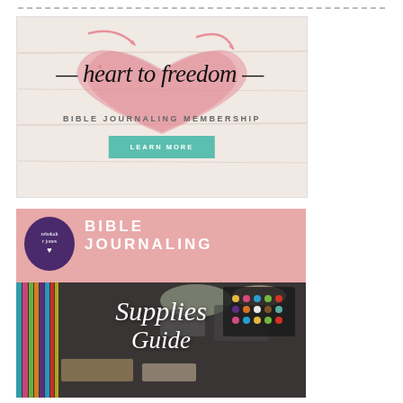[Figure (illustration): Heart to Freedom Bible Journaling Membership advertisement with watercolor heart, script text 'heart to freedom', subtitle 'BIBLE JOURNALING MEMBERSHIP', and teal 'LEARN MORE' button]
[Figure (illustration): Rebekah R Jones Bible Journaling Supplies Guide advertisement with pink header, purple circular logo, bold text 'BIBLE JOURNALING', and photo of art supplies with cursive 'Supplies Guide' overlay]